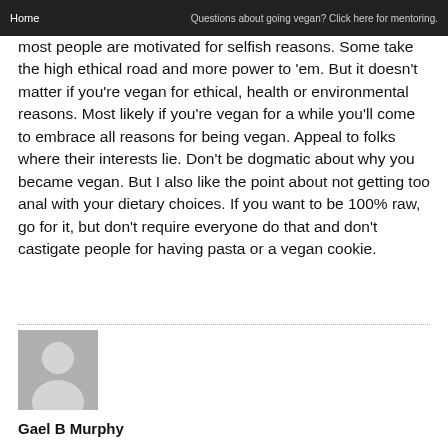Home | Questions about going vegan? Click here for mentoring.
most people are motivated for selfish reasons. Some take the high ethical road and more power to 'em. But it doesn't matter if you're vegan for ethical, health or environmental reasons. Most likely if you're vegan for a while you'll come to embrace all reasons for being vegan. Appeal to folks where their interests lie. Don't be dogmatic about why you became vegan. But I also like the point about not getting too anal with your dietary choices. If you want to be 100% raw, go for it, but don't require everyone do that and don't castigate people for having pasta or a vegan cookie.
[Figure (photo): Generic user avatar silhouette on grey background]
Gael B Murphy